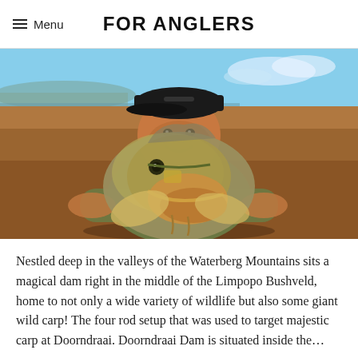Menu   FOR ANGLERS
[Figure (photo): Man holding a large wild carp fish at Doorndraai Dam, with red-brown earth and blue sky in the background]
Nestled deep in the valleys of the Waterberg Mountains sits a magical dam right in the middle of the Limpopo Bushveld, home to not only a wide variety of wildlife but also some giant wild carp! The four rod setup that was used to target majestic carp at Doorndraai. Doorndraai Dam is situated inside the…